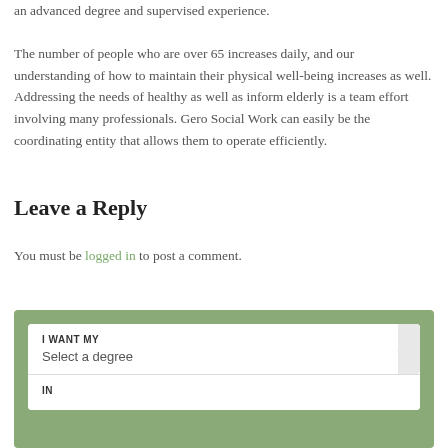an advanced degree and supervised experience. The number of people who are over 65 increases daily, and our understanding of how to maintain their physical well-being increases as well. Addressing the needs of healthy as well as inform elderly is a team effort involving many professionals. Gero Social Work can easily be the coordinating entity that allows them to operate efficiently.
Leave a Reply
You must be logged in to post a comment.
[Figure (screenshot): A green-bordered form widget with a dropdown labeled 'I WANT MY' with placeholder 'Select a degree', and a second row labeled 'IN'.]